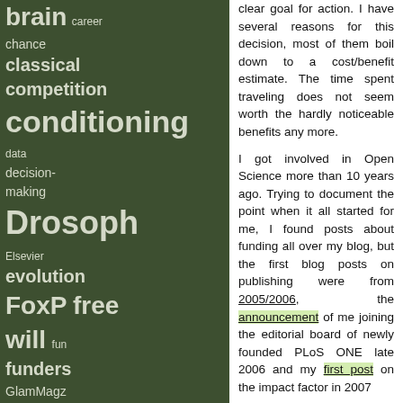brain career chance classical competition conditioning data decision-making Drosoph Elsevier evolution FoxP free will fun funders GlamMagz impact factor infrastru journal rank journals language libraries mandates neurogenetic
clear goal for action. I have several reasons for this decision, most of them boil down to a cost/benefit estimate. The time spent traveling does not seem worth the hardly noticeable benefits any more.

I got involved in Open Science more than 10 years ago. Trying to document the point when it all started for me, I found posts about funding all over my blog, but the first blog posts on publishing were from 2005/2006, the announcement of me joining the editorial board of newly founded PLoS ONE late 2006 and my first post on the impact factor in 2007